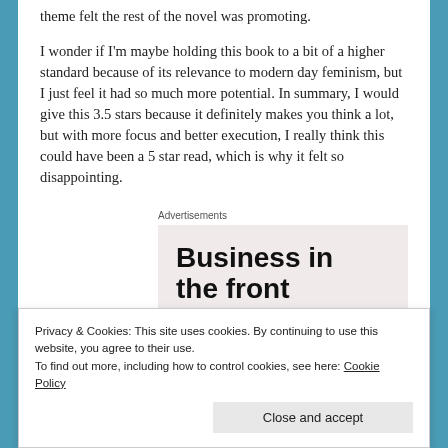theme felt the rest of the novel was promoting.
I wonder if I'm maybe holding this book to a bit of a higher standard because of its relevance to modern day feminism, but I just feel it had so much more potential. In summary, I would give this 3.5 stars because it definitely makes you think a lot, but with more focus and better execution, I really think this could have been a 5 star read, which is why it felt so disappointing.
Advertisements
[Figure (other): Advertisement banner with bold text 'Business in the front']
Privacy & Cookies: This site uses cookies. By continuing to use this website, you agree to their use.
To find out more, including how to control cookies, see here: Cookie Policy
Close and accept